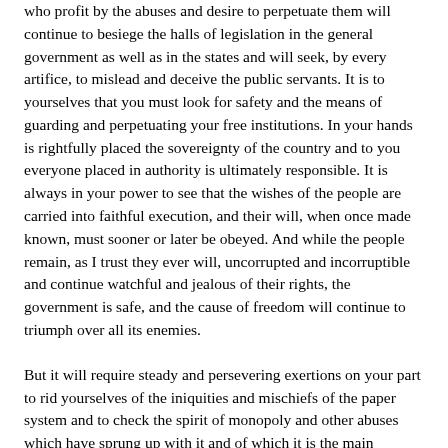who profit by the abuses and desire to perpetuate them will continue to besiege the halls of legislation in the general government as well as in the states and will seek, by every artifice, to mislead and deceive the public servants. It is to yourselves that you must look for safety and the means of guarding and perpetuating your free institutions. In your hands is rightfully placed the sovereignty of the country and to you everyone placed in authority is ultimately responsible. It is always in your power to see that the wishes of the people are carried into faithful execution, and their will, when once made known, must sooner or later be obeyed. And while the people remain, as I trust they ever will, uncorrupted and incorruptible and continue watchful and jealous of their rights, the government is safe, and the cause of freedom will continue to triumph over all its enemies.
But it will require steady and persevering exertions on your part to rid yourselves of the iniquities and mischiefs of the paper system and to check the spirit of monopoly and other abuses which have sprung up with it and of which it is the main support. So many interests are united to resist all reform on this subject that you must not hope the conflict will